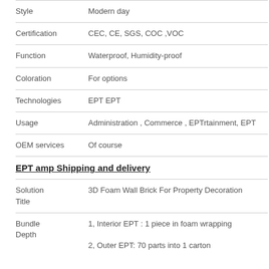| Field | Value |
| --- | --- |
| Style | Modern day |
| Certification | CEC, CE, SGS, COC ,VOC |
| Function | Waterproof, Humidity-proof |
| Coloration | For options |
| Technologies | EPT EPT |
| Usage | Administration , Commerce , EPTrtainment, EPT |
| OEM services | Of course |
EPT amp Shipping and delivery
| Field | Value |
| --- | --- |
| Solution Title | 3D Foam Wall Brick For Property Decoration |
| Bundle Depth | 1, Interior EPT : 1 piece in foam wrapping
2, Outer EPT: 70 parts into 1 carton |